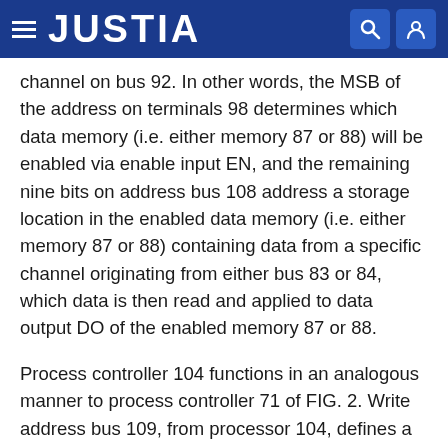JUSTIA
channel on bus 92. In other words, the MSB of the address on terminals 98 determines which data memory (i.e. either memory 87 or 88) will be enabled via enable input EN, and the remaining nine bits on address bus 108 address a storage location in the enabled data memory (i.e. either memory 87 or 88) containing data from a specific channel originating from either bus 83 or 84, which data is then read and applied to data output DO of the enabled memory 87 or 88.
Process controller 104 functions in an analogous manner to process controller 71 of FIG. 2. Write address bus 109, from processor 104, defines a location in connection memory 94 (or memory 99) corresponding to a channel on bus 91 (or bus 92). Processor 104, via data bus 110, stores in memory 94 (or memory 99), as data, the addresses of the channels (i.e. from buses 83 and 84) to be connected to bus 91 (or bus 92). The